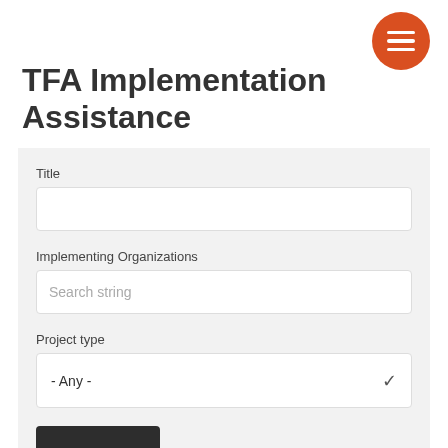[Figure (other): Orange circular hamburger menu button with three white horizontal bars]
TFA Implementation Assistance
Title
Implementing Organizations
Search string
Project type
- Any -
Aplica